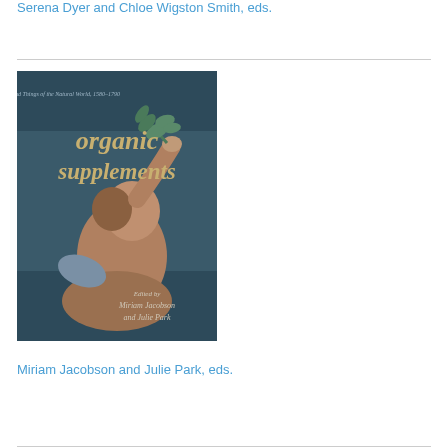Serena Dyer and Chloe Wigston Smith, eds.
[Figure (photo): Book cover of 'Organic Supplements: Bodies and Things of the Natural World, 1580-1790', edited by Miriam Jacobson and Julie Park. Dark teal/blue cover with large text 'organic supplements' in gold/cream, with a classical painting detail showing a cherub or figure reaching upward holding a leafy branch.]
Miriam Jacobson and Julie Park, eds.